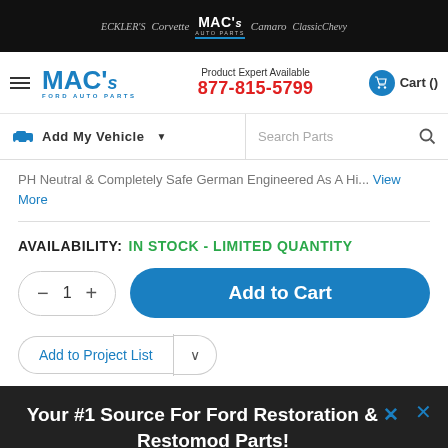ECKLER'S | Corvette | MAC's AUTO PARTS | Camaro | ClassicChevy
[Figure (logo): MAC's Ford Auto Parts logo in blue]
Product Expert Available 877-815-5799
Cart ()
Add My Vehicle
Search Parts
PH Neutral & Completely Safe German Engineered As A Hi... View More
AVAILABILITY: IN STOCK - LIMITED QUANTITY
1
Add to Cart
Add to Project List
Your #1 Source For Ford Restoration & Restomod Parts!